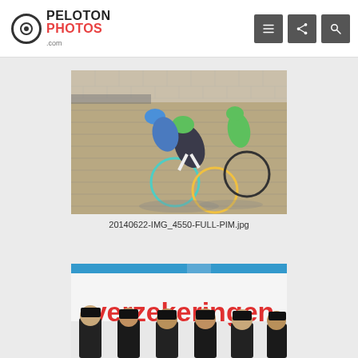PELOTON PHOTOS .com
[Figure (photo): Cyclists racing on a brick-paved road. Several riders in colorful cycling gear (blue, green, black) are visible, leaning into their bikes. Shadows cast on the cobblestones below.]
20140622-IMG_4550-FULL-PIM.jpg
[Figure (photo): Cyclists wearing dark caps and jerseys standing in front of a banner that reads 'verzekeringen' in large red letters.]